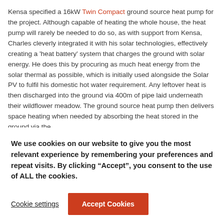Kensa specified a 16kW Twin Compact ground source heat pump for the project. Although capable of heating the whole house, the heat pump will rarely be needed to do so, as with support from Kensa, Charles cleverly integrated it with his solar technologies, effectively creating a 'heat battery' system that charges the ground with solar energy. He does this by procuring as much heat energy from the solar thermal as possible, which is initially used alongside the Solar PV to fulfil his domestic hot water requirement. Any leftover heat is then discharged into the ground via 400m of pipe laid underneath their wildflower meadow. The ground source heat pump then delivers space heating when needed by absorbing the heat stored in the ground via the
We use cookies on our website to give you the most relevant experience by remembering your preferences and repeat visits. By clicking “Accept”, you consent to the use of ALL the cookies.
Cookie settings
Accept Cookies